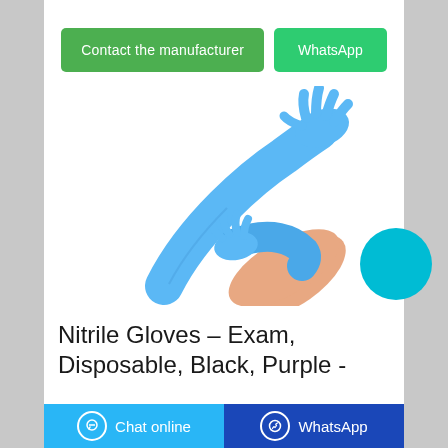[Figure (other): Two green buttons side by side: 'Contact the manufacturer' and 'WhatsApp']
[Figure (photo): Photo of blue nitrile examination gloves being worn on hands, showing long blue disposable gloves against a white background. A cyan blue circle button is visible at the bottom right.]
Nitrile Gloves – Exam, Disposable, Black, Purple -
[Figure (other): Bottom navigation bar with 'Chat online' button on blue background and 'WhatsApp' button on dark blue background, each with icons.]